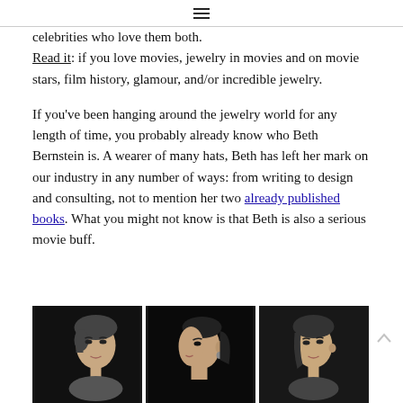≡
celebrities who love them both.
Read it: if you love movies, jewelry in movies and on movie stars, film history, glamour, and/or incredible jewelry.
If you've been hanging around the jewelry world for any length of time, you probably already know who Beth Bernstein is. A wearer of many hats, Beth has left her mark on our industry in any number of ways: from writing to design and consulting, not to mention her two already published books. What you might not know is that Beth is also a serious movie buff.
[Figure (photo): Three black and white portrait photos of women from what appears to be the golden age of Hollywood, side by side.]